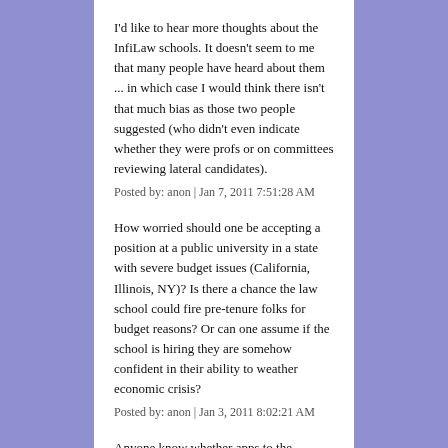I'd like to hear more thoughts about the InfiLaw schools. It doesn't seem to me that many people have heard about them ... in which case I would think there isn't that much bias as those two people suggested (who didn't even indicate whether they were profs or on committees reviewing lateral candidates).
Posted by: anon | Jan 7, 2011 7:51:28 AM
How worried should one be accepting a position at a public university in a state with severe budget issues (California, Illinois, NY)? Is there a chance the law school could fire pre-tenure folks for budget reasons? Or can one assume if the school is hiring they are somehow confident in their ability to weather economic crisis?
Posted by: anon | Jan 3, 2011 8:02:21 AM
Anyone know whether apps to the Bigelow Fellowship program are still being accepted?
Posted by: anon | Jan 2, 2011 2:58:01 PM